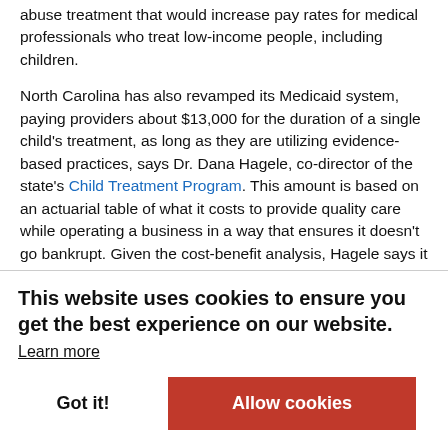abuse treatment that would increase pay rates for medical professionals who treat low-income people, including children.
North Carolina has also revamped its Medicaid system, paying providers about $13,000 for the duration of a single child's treatment, as long as they are utilizing evidence-based practices, says Dr. Dana Hagele, co-director of the state's Child Treatment Program. This amount is based on an actuarial table of what it costs to provide quality care while operating a business in a way that ensures it doesn't go bankrupt. Given the cost-benefit analysis, Hagele says it wasn't difficult to convince state officials to make the change.
“If just 15 kids avoid a year in a psychiatric facility because they
entire
There is a cost
This website uses cookies to ensure you get the best experience on our website.
Learn more